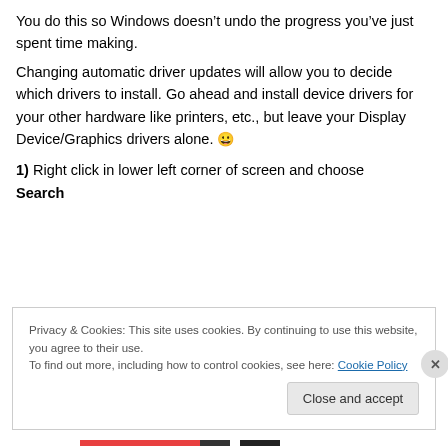You do this so Windows doesn’t undo the progress you’ve just spent time making.
Changing automatic driver updates will allow you to decide which drivers to install. Go ahead and install device drivers for your other hardware like printers, etc., but leave your Display Device/Graphics drivers alone. 😀
1) Right click in lower left corner of screen and choose Search
Privacy & Cookies: This site uses cookies. By continuing to use this website, you agree to their use.
To find out more, including how to control cookies, see here: Cookie Policy